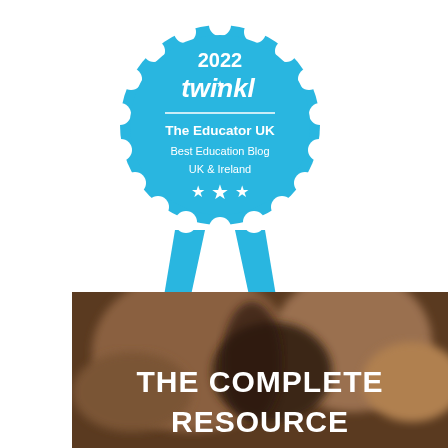[Figure (logo): Twinkl 2022 award badge in blue. Shows '2022' at top, 'twinkl' logo with star, horizontal line, 'The Educator UK', 'Best Education Blog', 'UK & Ireland', three stars. Ribbon tails at bottom.]
[Figure (photo): Dark brown blurred close-up photo of an animal (possibly a lion or bear) with white bold text overlay reading 'THE COMPLETE RESOURCE']